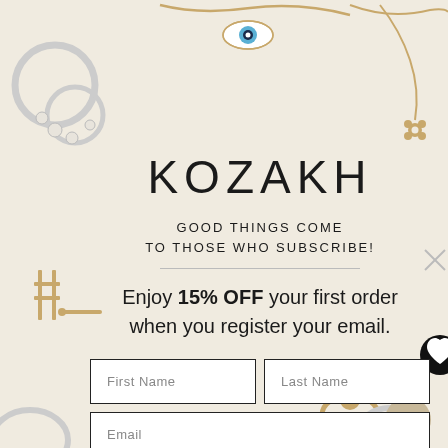[Figure (illustration): Decorative jewelry items around the border: silver rings with pearls top-left, gold chain with evil eye pendant and gold chain with flower charm top-right, gold hashtag/bar earrings mid-left, gold bear ring and silver ring bottom-right, silver ring bottom-left]
KOZAKH
GOOD THINGS COME TO THOSE WHO SUBSCRIBE!
Enjoy 15% OFF your first order when you register your email.
First Name
Last Name
Email
Continue 1/2